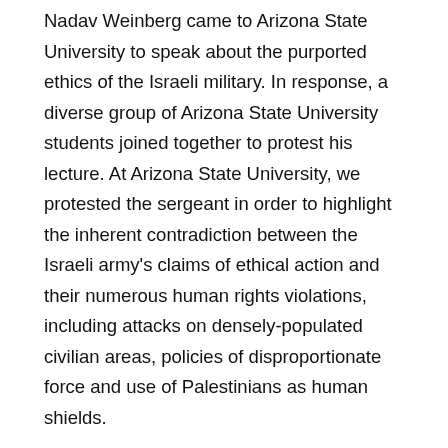Nadav Weinberg came to Arizona State University to speak about the purported ethics of the Israeli military. In response, a diverse group of Arizona State University students joined together to protest his lecture. At Arizona State University, we protested the sergeant in order to highlight the inherent contradiction between the Israeli army's claims of ethical action and their numerous human rights violations, including attacks on densely-populated civilian areas, policies of disproportionate force and use of Palestinians as human shields.
Inspired by the protest at the University of Michigan, the Arizona State University protest was also silent. We believe that this use of silence was intrinsic to the success of both student-led protests. We knew that